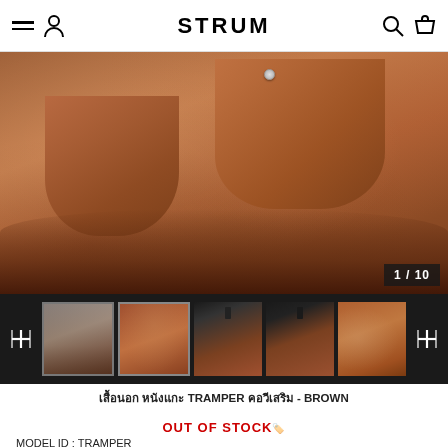STRUM
[Figure (photo): Close-up of a brown leather jacket (TRAMPER model) showing chest pockets with curved flaps and snap button, distressed suede texture in warm brown tones. Image counter shows 1/10.]
[Figure (photo): Thumbnail strip showing 5 thumbnail images of the brown leather jacket from different angles on a dark background, with left and right navigation arrows.]
เสื้อนอก หนังแกะ TRAMPER คอวีเสริม - BROWN
OUT OF STOCK🏷️
MODEL ID : TRAMPER